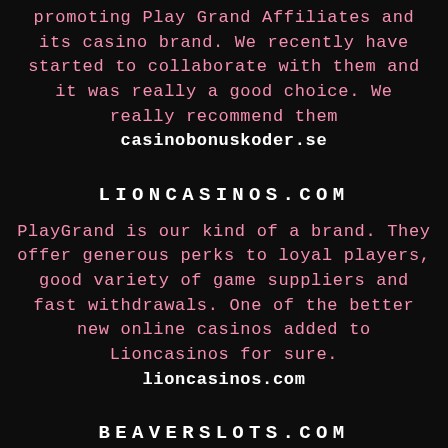promoting Play Grand Affiliates and its casino brand. We recently have started to collaborate with them and it was really a good choice. We really recommend them
casinobonuskoder.se
LIONCASINOS.COM
PlayGrand is our kind of a brand. They offer generous perks to loyal players, good variety of game suppliers and fast withdrawals. One of the better new online casinos added to Lioncasinos for sure.
lioncasinos.com
BEAVERSLOTS.COM